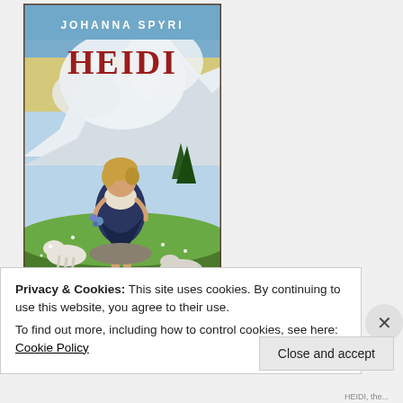[Figure (illustration): Book cover of 'Heidi' by Johanna Spyri. The cover shows a young blonde girl in a dark pinafore sitting on a rock in an alpine meadow with goats around her, holding blue flowers. Snow-capped mountains and sky are visible in the background. The author name 'JOHANNA SPYRI' is at the top and 'HEIDI' in large red letters is below it.]
Privacy & Cookies: This site uses cookies. By continuing to use this website, you agree to their use.
To find out more, including how to control cookies, see here: Cookie Policy
Close and accept